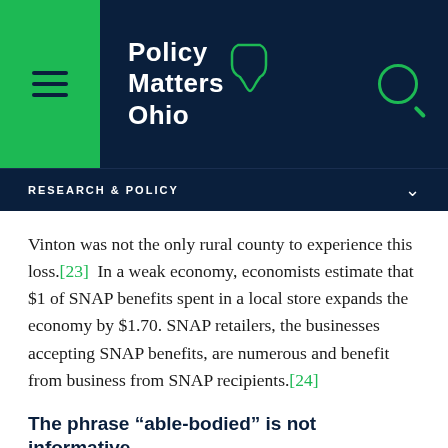[Figure (logo): Policy Matters Ohio logo with hamburger menu icon on green background and search icon, set against dark navy header]
RESEARCH & POLICY
Vinton was not the only rural county to experience this loss.[23] In a weak economy, economists estimate that $1 of SNAP benefits spent in a local store expands the economy by $1.70. SNAP retailers, the businesses accepting SNAP benefits, are numerous and benefit from business from SNAP recipients.[24]
The phrase “able-bodied” is not informative
Able-bodied adults without dependents sounds descriptive but is not. Many people so labeled have mental and physical disabilities, have